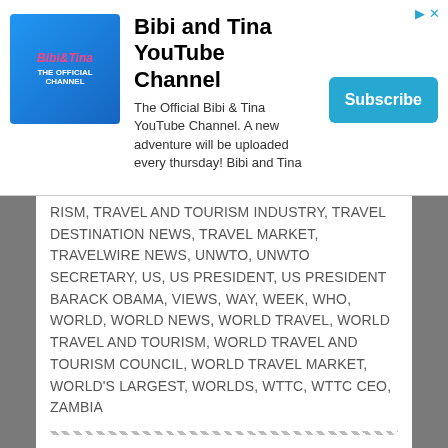[Figure (other): Bibi and Tina YouTube Channel advertisement banner with channel logo, description text, and Subscribe button]
RISM, TRAVEL AND TOURISM INDUSTRY, TRAVEL DESTINATION NEWS, TRAVEL MARKET, TRAVELWIRE NEWS, UNWTO, UNWTO SECRETARY, US, US PRESIDENT, US PRESIDENT BARACK OBAMA, VIEWS, WAY, WEEK, WHO, WORLD, WORLD NEWS, WORLD TRAVEL, WORLD TRAVEL AND TOURISM, WORLD TRAVEL AND TOURISM COUNCIL, WORLD TRAVEL MARKET, WORLD'S LARGEST, WORLDS, WTTC, WTTC CEO, ZAMBIA
SEARCH
Search this website